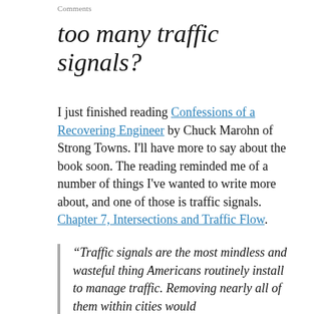Comments
too many traffic signals?
I just finished reading Confessions of a Recovering Engineer by Chuck Marohn of Strong Towns. I'll have more to say about the book soon. The reading reminded me of a number of things I've wanted to write more about, and one of those is traffic signals. Chapter 7, Intersections and Traffic Flow.
“Traffic signals are the most mindless and wasteful thing Americans routinely install to manage traffic. Removing nearly all of them within cities would